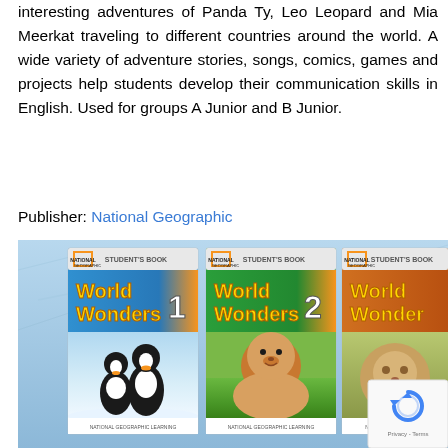interesting adventures of Panda Ty, Leo Leopard and Mia Meerkat traveling to different countries around the world. A wide variety of adventure stories, songs, comics, games and projects help students develop their communication skills in English. Used for groups A Junior and B Junior.
Publisher: National Geographic
[Figure (photo): Three World Wonders student book covers (1, 2, and partially visible 3) displayed against a blue icy background. Book 1 shows penguins, Book 2 shows a lion, Book 3 shows a cat/big cat. A reCAPTCHA badge with Privacy - Terms text overlays the bottom right corner.]